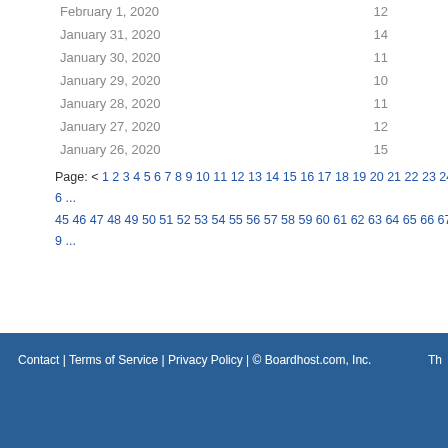February 1, 2020   12
January 31, 2020   14
January 30, 2020   11
January 29, 2020   10
January 28, 2020   11
January 27, 2020   12
January 26, 2020   15
Page: < 1 2 3 4 5 6 7 8 9 10 11 12 13 14 15 16 17 18 19 20 21 22 23 24 25 26 ... 45 46 47 48 49 50 51 52 53 54 55 56 57 58 59 60 61 62 63 64 65 66 67 68 69 ...
Contact | Terms of Service | Privacy Policy | © Boardhost.com, Inc.   Th...